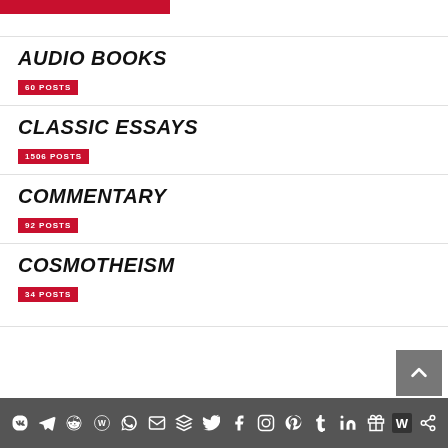AUDIO BOOKS
60 POSTS
CLASSIC ESSAYS
1506 POSTS
COMMENTARY
92 POSTS
COSMOTHEISM
34 POSTS
Social media icon bar